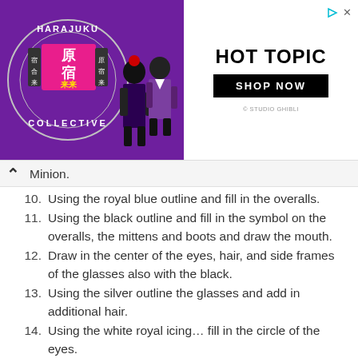[Figure (infographic): Advertisement banner for Hot Topic featuring Harajuku Collective branding on the left (purple background with anime-style characters) and Hot Topic logo with SHOP NOW button on the right. Navigational icons (triangle/arrow and X) in top-right corner.]
Minion.
10. Using the royal blue outline and fill in the overalls.
11. Using the black outline and fill in the symbol on the overalls, the mittens and boots and draw the mouth.
12. Draw in the center of the eyes, hair, and side frames of the glasses also with the black.
13. Using the silver outline the glasses and add in additional hair.
14. Using the white royal icing... fill in the circle of the eyes.
15. Allow 5-10 hours to dry.
16. Make sure that the Minions are dry, gently push in